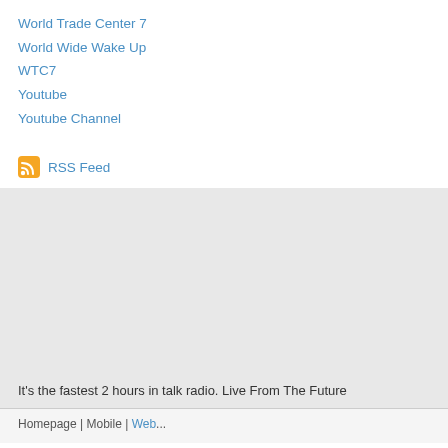World Trade Center 7
World Wide Wake Up
WTC7
Youtube
Youtube Channel
RSS Feed
[Figure (other): Gray advertisement or widget placeholder block]
It's the fastest 2 hours in talk radio. Live From The Future
Homepage | Mobile | Web ...